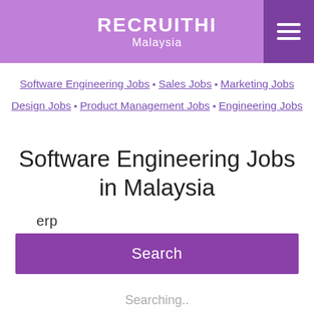RECRUITHI Malaysia
Software Engineering Jobs • Sales Jobs • Marketing Jobs • Design Jobs • Product Management Jobs • Engineering Jobs
Software Engineering Jobs in Malaysia
erp
Search
Searching..